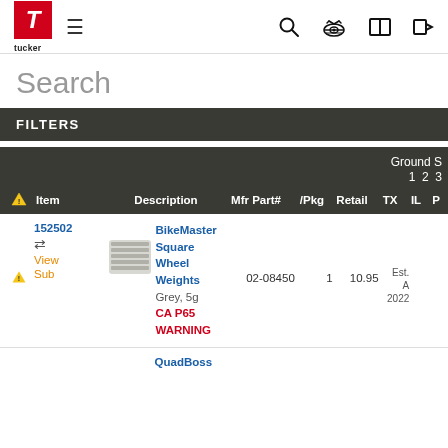Tucker — Search page header with navigation icons
Search
FILTERS
| Item | Description | Mfr Part# | /Pkg | Retail | TX | IL | P |
| --- | --- | --- | --- | --- | --- | --- | --- |
| 152502 / View Sub | BikeMaster Square Wheel Weights Grey, 5g CA P65 WARNING | 02-08450 | 1 | 10.95 | Est. A 2022 |  |  |
|  | QuadBoss |  |  |  |  |  |  |